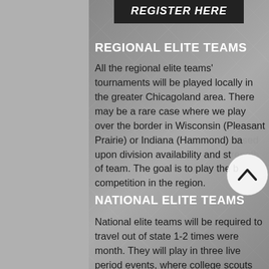[Figure (other): REGISTER HERE button — dark/black background with bold italic white uppercase text]
REGIONAL ELITE TEAMS
All the regional elite teams' tournaments will be played locally in the greater Chicagoland area. There may be a rare case where we play over the border in Wisconsin (Pleasant Prairie) or Indiana (Hammond) based upon division availability and strength of team. The goal is to play the best competition in the region.
NATIONAL ELITE TEAMS
National elite teams will be required to travel out of state 1-2 times were month. They will play in three live period events, where college scouts